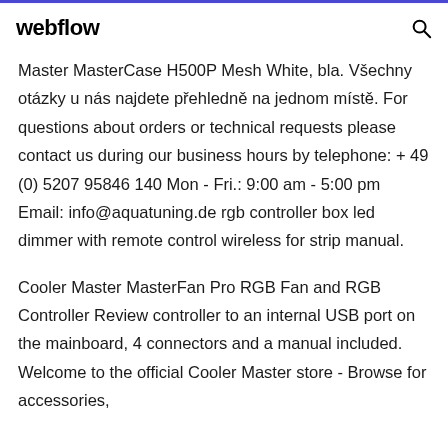webflow [search icon]
Master MasterCase H500P Mesh White, bla. Všechny otázky u nás najdete přehledně na jednom místě. For questions about orders or technical requests please contact us during our business hours by telephone: + 49 (0) 5207 95846 140 Mon - Fri.: 9:00 am - 5:00 pm Email: info@aquatuning.de rgb controller box led dimmer with remote control wireless for strip manual.
Cooler Master MasterFan Pro RGB Fan and RGB Controller Review controller to an internal USB port on the mainboard, 4 connectors and a manual included. Welcome to the official Cooler Master store - Browse for accessories,